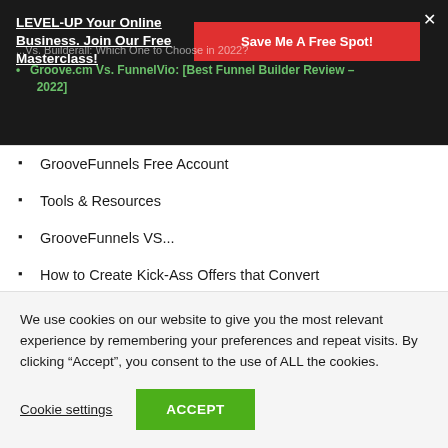LEVEL-UP Your Online Business. Join Our Free Masterclass!
Groove.cm Vs. FunnelVio: [Best Funnel Builder Review – 2022]
GrooveFunnels Free Account
Tools & Resources
GrooveFunnels VS...
How to Create Kick-Ass Offers that Convert
We use cookies on our website to give you the most relevant experience by remembering your preferences and repeat visits. By clicking “Accept”, you consent to the use of ALL the cookies.
Cookie settings
ACCEPT